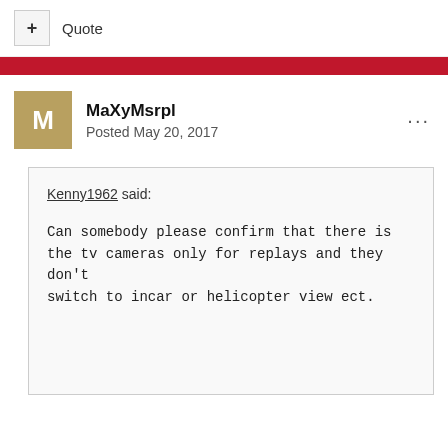+ Quote
MaXyMsrpl
Posted May 20, 2017
Kenny1962 said:

Can somebody please confirm that there is the tv cameras only for replays and they don't switch to incar or helicopter view ect.